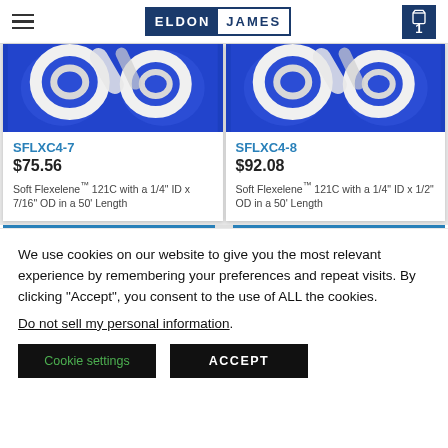ELDON JAMES
[Figure (photo): Product image: white tubing rings on blue background for SFLXC4-7]
SFLXC4-7
$75.56
Soft Flexelene™ 121C with a 1/4" ID x 7/16" OD in a 50' Length
[Figure (photo): Product image: white tubing rings on blue background for SFLXC4-8]
SFLXC4-8
$92.08
Soft Flexelene™ 121C with a 1/4" ID x 1/2" OD in a 50' Length
We use cookies on our website to give you the most relevant experience by remembering your preferences and repeat visits. By clicking "Accept", you consent to the use of ALL the cookies.
Do not sell my personal information.